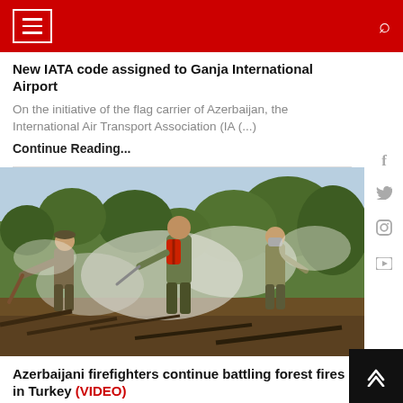Navigation header with hamburger menu and search icon
New IATA code assigned to Ganja International Airport
On the initiative of the flag carrier of Azerbaijan, the International Air Transport Association (IA (...)
Continue Reading...
[Figure (photo): Firefighters battling a forest fire in a smoky, wooded area. Multiple people in tactical gear are visible, one carrying a red backpack, working through smoke and burned debris among trees.]
Azerbaijani firefighters continue battling forest fires in Turkey (VIDEO)
Firefighting and rescue teams of Azerbaijan's Ministry of